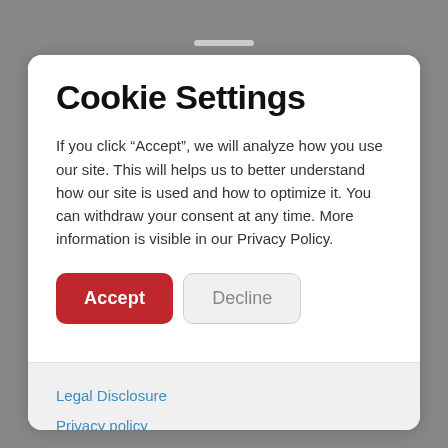Cookie Settings
If you click “Accept”, we will analyze how you use our site. This will helps us to better understand how our site is used and how to optimize it. You can withdraw your consent at any time. More information is visible in our Privacy Policy.
Accept
Decline
Legal Disclosure
Privacy policy
Terms and conditions